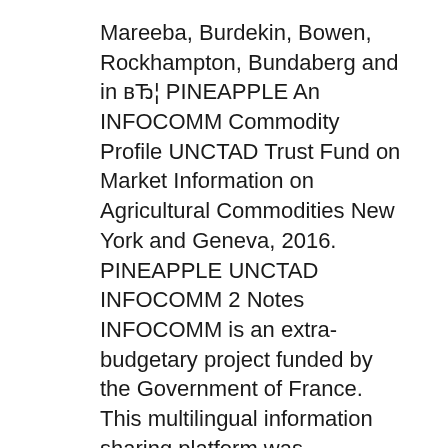Mareeba, Burdekin, Bowen, Rockhampton, Bundaberg and in вЂ¦ PINEAPPLE An INFOCOMM Commodity Profile UNCTAD Trust Fund on Market Information on Agricultural Commodities New York and Geneva, 2016. PINEAPPLE UNCTAD INFOCOMM 2 Notes INFOCOMM is an extra-budgetary project funded by the Government of France. This multilingual information sharing platform was developed by UNCTAD in 2000 in response to the scarcity of вЂ¦
Globalization: Its Impacts on the Philippine Environment Aurora Alerta-Lim Central Philippine University (URCHE A Visiting Scholar at Warren…